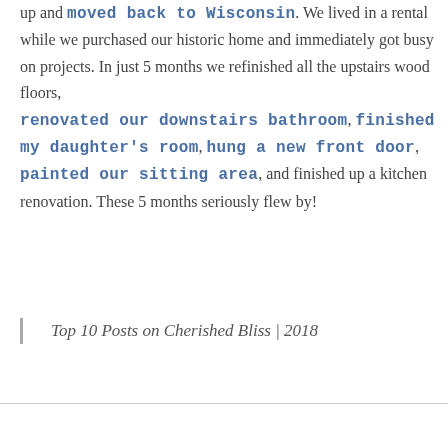up and moved back to Wisconsin. We lived in a rental while we purchased our historic home and immediately got busy on projects. In just 5 months we refinished all the upstairs wood floors, renovated our downstairs bathroom, finished my daughter's room, hung a new front door, painted our sitting area, and finished up a kitchen renovation. These 5 months seriously flew by!
Top 10 Posts on Cherished Bliss | 2018